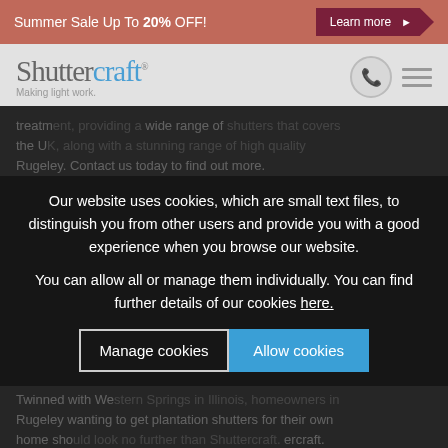Summer Sale Up To 20% OFF! Learn more
[Figure (logo): Shuttercraft logo with tagline 'Making light work', phone icon circle, and hamburger menu icon]
Our website uses cookies, which are small text files, to distinguish you from other users and provide you with a good experience when you browse our website.
You can allow all or manage them individually. You can find further details of our cookies here.
Manage cookies   Allow cookies
Historically known as Rugeley, the town's name is thought to be a derivation of the words “ridge” and “lee”, meaning “the hill over the field” in old English. During the Industrial